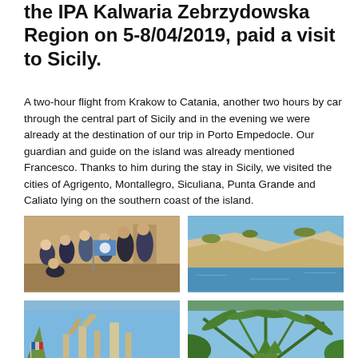the IPA Kalwaria Zebrzydowska Region on 5-8/04/2019, paid a visit to Sicily.
A two-hour flight from Krakow to Catania, another two hours by car through the central part of Sicily and in the evening we were already at the destination of our trip in Porto Empedocle. Our guardian and guide on the island was already mentioned Francesco. Thanks to him during the stay in Sicily, we visited the cities of Agrigento, Montallegro, Siculiana, Punta Grande and Caliato lying on the southern coast of the island.
[Figure (photo): Group photo of IPA members standing in a courtyard holding a blue IPA flag]
[Figure (photo): Coastal landscape showing chalk/limestone cliffs above the sea with Mediterranean vegetation]
[Figure (photo): Stone monument or ancient columns against a blue sky with agave plant in foreground]
[Figure (photo): Close-up of palm/tropical vegetation with blue sky in background]